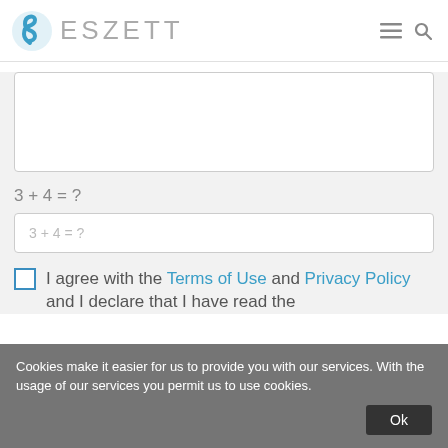ESZETT
[Figure (other): Empty white textarea input box with rounded border]
3 + 4 = ?
[Figure (other): Text input field with placeholder text '3 + 4 = ?']
I agree with the Terms of Use and Privacy Policy and I declare that I have read the
Cookies make it easier for us to provide you with our services. With the usage of our services you permit us to use cookies.